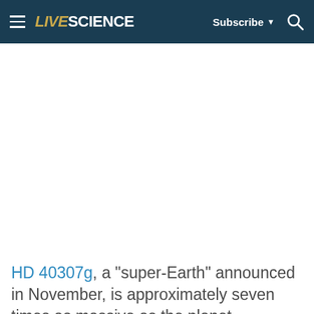LIVESCIENCE  Subscribe  🔍
[Figure (other): Large white/blank advertisement or image placeholder area in the center of the page]
HD 40307g, a "super-Earth" announced in November, is approximately seven times as massive as the planet